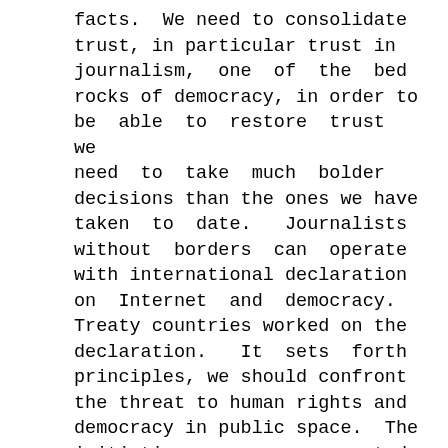facts.  We need to consolidate trust, in particular trust in journalism,  one  of  the  bed rocks of democracy, in order to be  able  to  restore  trust  we need  to  take  much  bolder decisions than the ones we have taken  to  date.   Journalists without  borders  can  operate with international declaration on  Internet  and  democracy. Treaty countries worked on the declaration.   It  sets  forth principles, we should confront the threat to human rights and democracy in public space.  The initiative    was    presented yesterday at the Paris Peace Forum and a number of heads of state and Government expressed their support for it.

     I          support          it unswervingly.  I  think  it's